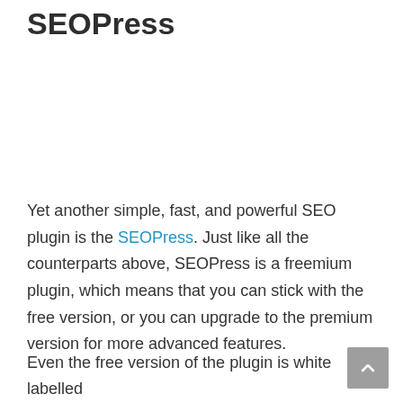SEOPress
Yet another simple, fast, and powerful SEO plugin is the SEOPress. Just like all the counterparts above, SEOPress is a freemium plugin, which means that you can stick with the free version, or you can upgrade to the premium version for more advanced features.
Even the free version of the plugin is white labelled